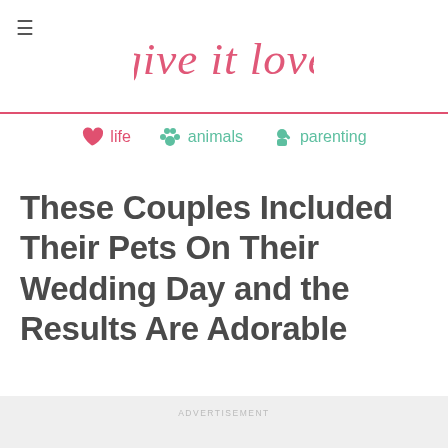give it love
life
animals
parenting
These Couples Included Their Pets On Their Wedding Day and the Results Are Adorable
ADVERTISEMENT
For lots of pet owners, your fur baby is just as important